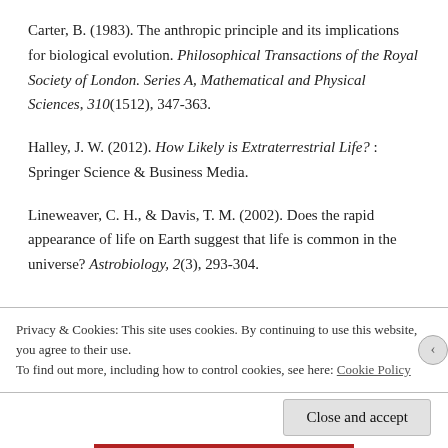Carter, B. (1983). The anthropic principle and its implications for biological evolution. Philosophical Transactions of the Royal Society of London. Series A, Mathematical and Physical Sciences, 310(1512), 347-363.
Halley, J. W. (2012). How Likely is Extraterrestrial Life? : Springer Science & Business Media.
Lineweaver, C. H., & Davis, T. M. (2002). Does the rapid appearance of life on Earth suggest that life is common in the universe? Astrobiology, 2(3), 293-304.
Privacy & Cookies: This site uses cookies. By continuing to use this website, you agree to their use. To find out more, including how to control cookies, see here: Cookie Policy